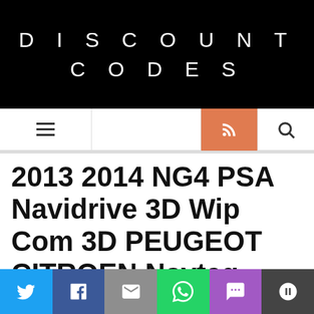DISCOUNT CODES
[Figure (other): Navigation bar with hamburger menu, RSS feed button (orange), and search icon]
2013 2014 NG4 PSA Navidrive 3D Wip Com 3D PEUGEOT CITROEN Navteq Maps Europe Full Version
NOV 17, 2015 by CAR NAVIGATION MAPS & UPDATES in OTHER
[Figure (infographic): Social sharing bar with Twitter, Facebook, Email, WhatsApp, SMS, and More buttons]